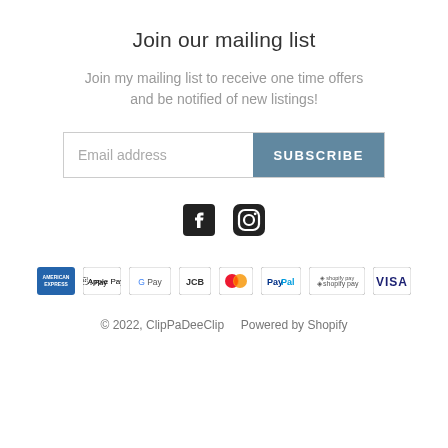Join our mailing list
Join my mailing list to receive one time offers and be notified of new listings!
[Figure (infographic): Email address input field with SUBSCRIBE button]
[Figure (infographic): Social media icons: Facebook and Instagram]
[Figure (infographic): Payment method logos: American Express, Apple Pay, Google Pay, JCB, Mastercard, PayPal, Shopify Pay, Visa]
© 2022, ClipPaDeeClip   Powered by Shopify